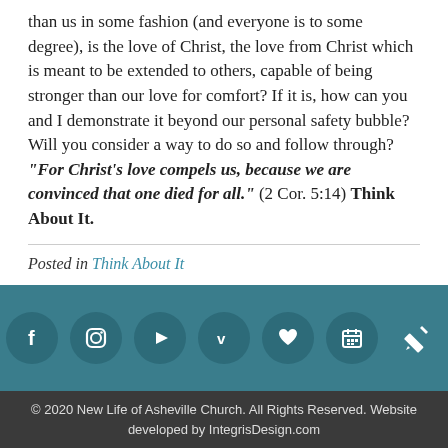than us in some fashion (and everyone is to some degree), is the love of Christ, the love from Christ which is meant to be extended to others, capable of being stronger than our love for comfort? If it is, how can you and I demonstrate it beyond our personal safety bubble? Will you consider a way to do so and follow through? "For Christ's love compels us, because we are convinced that one died for all." (2 Cor. 5:14) Think About It.
Posted in Think About It
[Figure (infographic): Teal footer bar with 7 social media / app icon circles: Facebook, Instagram, YouTube, Vimeo, Heart/Favorites, Calendar, and a pen/edit icon]
© 2020 New Life of Asheville Church. All Rights Reserved. Website developed by IntegrisDesign.com